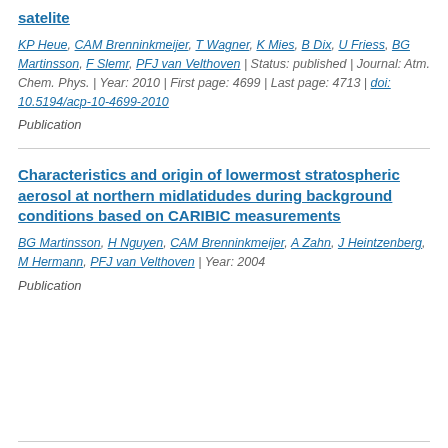satelite
KP Heue, CAM Brenninkmeijer, T Wagner, K Mies, B Dix, U Friess, BG Martinsson, F Slemr, PFJ van Velthoven | Status: published | Journal: Atm. Chem. Phys. | Year: 2010 | First page: 4699 | Last page: 4713 | doi: 10.5194/acp-10-4699-2010
Publication
Characteristics and origin of lowermost stratospheric aerosol at northern midlatidudes during background conditions based on CARIBIC measurements
BG Martinsson, H Nguyen, CAM Brenninkmeijer, A Zahn, J Heintzenberg, M Hermann, PFJ van Velthoven | Year: 2004
Publication